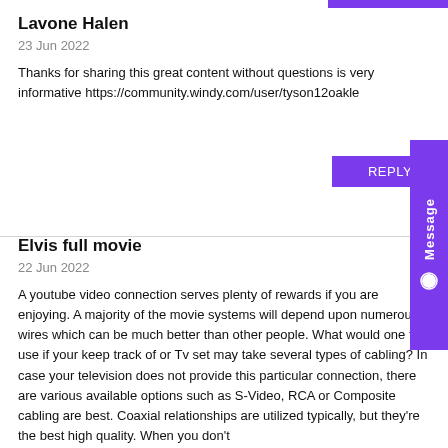Lavone Halen
23 Jun 2022
Thanks for sharing this great content without questions is very informative https://community.windy.com/user/tyson12oakle
Elvis full movie
22 Jun 2022
A youtube video connection serves plenty of rewards if you are enjoying. A majority of the movie systems will depend upon numerous wires which can be much better than other people. What would one to use if your keep track of or Tv set may take several types of cabling? In case your television does not provide this particular connection, there are various available options such as S-Video, RCA or Composite cabling are best. Coaxial relationships are utilized typically, but they're the best high quality. When you don't